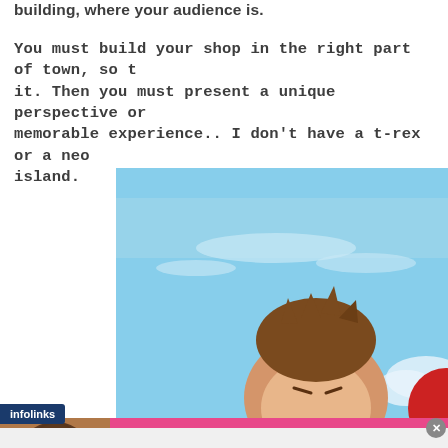building, where your audience is.
You must build your shop in the right part of town, so t it. Then you must present a unique perspective or memorable experience.. I don't have a t-rex or a neon island.
[Figure (illustration): Cartoon illustration showing a blue sky background with a cartoon character (round-faced figure with spiky brown hair) peeking up from the bottom, and a partial red shape to the right.]
infolinks
[Figure (illustration): Victoria's Secret advertisement banner with pink background. Shows a woman model on the left, Victoria's Secret logo in center, text 'SHOP THE COLLECTION' and a white button 'SHOP NOW' on the right.]